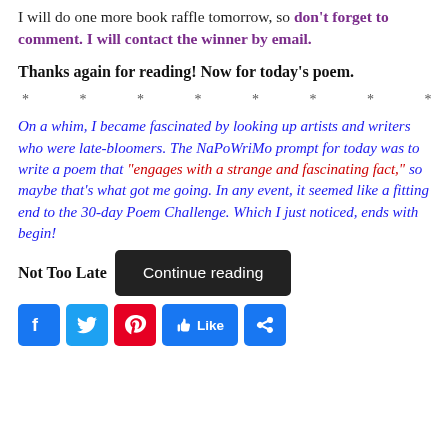I will do one more book raffle tomorrow, so don't forget to comment. I will contact the winner by email.
Thanks again for reading! Now for today's poem.
* * * * * * * * * * *
On a whim, I became fascinated by looking up artists and writers who were late-bloomers. The NaPoWriMo prompt for today was to write a poem that “engages with a strange and fascinating fact,” so maybe that’s what got me going. In any event, it seemed like a fitting end to the 30-day Poem Challenge. Which I just noticed, ends with begin!
Not Too Late
[Figure (screenshot): Continue reading button (dark background with white text)]
[Figure (screenshot): Social media icons row: Facebook, Twitter, Pinterest/red, Like button, Share button]